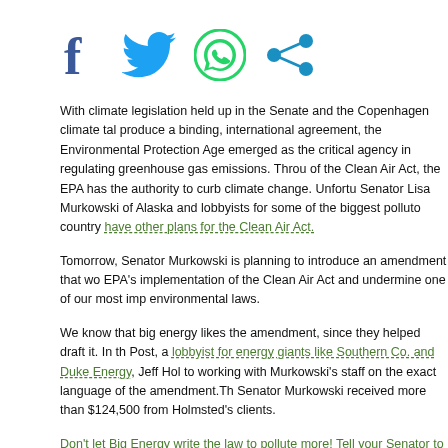[Figure (other): Social media share icons: Facebook (blue f), Twitter (blue bird), WhatsApp (green phone), Share (blue nodes)]
With climate legislation held up in the Senate and the Copenhagen climate talks failing to produce a binding, international agreement, the Environmental Protection Agency has emerged as the critical agency in regulating greenhouse gas emissions. Through provisions of the Clean Air Act, the EPA has the authority to curb climate change. Unfortunately, Senator Lisa Murkowski of Alaska and lobbyists for some of the biggest polluters in the country have other plans for the Clean Air Act.
Tomorrow, Senator Murkowski is planning to introduce an amendment that would block the EPA's implementation of the Clean Air Act and undermine one of our most important environmental laws.
We know that big energy likes the amendment, since they helped draft it. In the Washington Post, a lobbyist for energy giants like Southern Co. and Duke Energy, Jeff Holmsted, admitted to working with Murkowski's staff on the exact language of the amendment. The Washington Post, Senator Murkowski received more than $124,500 from Holmsted's clients.
Don't let Big Energy write the law to pollute more! Tell your Senator to protect the Clean Air Act.
The Murkowski amendment seeks to reverse the EPA's critical finding that gre...